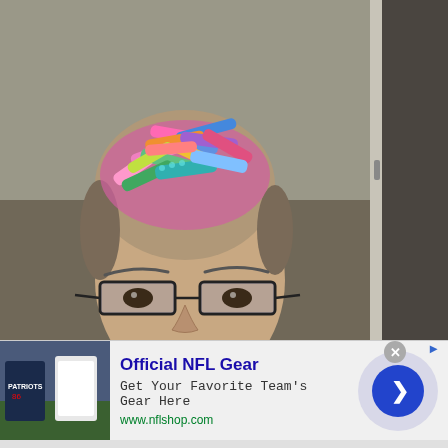[Figure (photo): A man wearing glasses with many colorful hair clips/barrettes piled on top of his forehead/head, standing in front of a door and wall. The clips are various colors and patterns including pink, blue, green, yellow, and patterned designs.]
[Figure (photo): Advertisement image showing NFL jerseys/shirts on mannequins or models, including a dark Patriots shirt on the left.]
Official NFL Gear
Get Your Favorite Team's Gear Here
www.nflshop.com